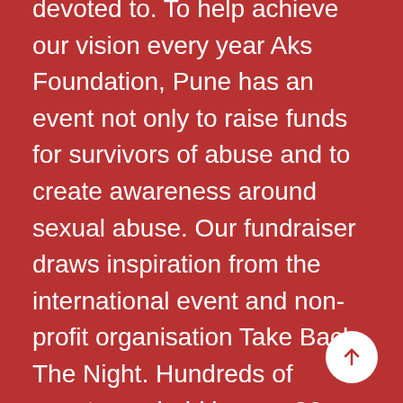devoted to. To help achieve our vision every year Aks Foundation, Pune has an event not only to raise funds for survivors of abuse and to create awareness around sexual abuse. Our fundraiser draws inspiration from the international event and non-profit organisation Take Back The Night. Hundreds of events are held in over 30 countries annually. Events often include marches, rallies and vigils intended as a protest and direct action against rape and other forms of sexual, relationship and domestic violence. The first Aks TBTN was